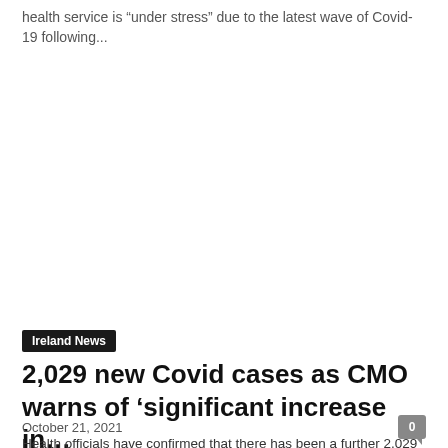health service is “under stress” due to the latest wave of Covid-19 following...
Ireland News
2,029 new Covid cases as CMO warns of ‘significant increase in…
October 21, 2021
Health officials have confirmed that there has been a further 2,029 cases of Covid-19 recorded today. Some 448 Covid-19 patients are hospitalised, of whom...